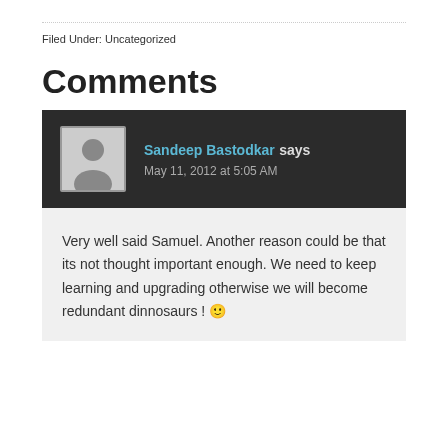Filed Under: Uncategorized
Comments
Sandeep Bastodkar says
May 11, 2012 at 5:05 AM
Very well said Samuel. Another reason could be that its not thought important enough. We need to keep learning and upgrading otherwise we will become redundant dinnosaurs ! 🙂